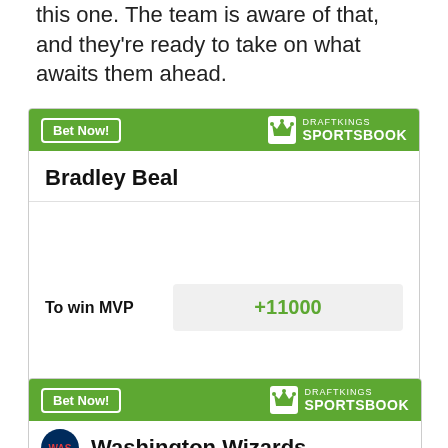this one. The team is aware of that, and they're ready to take on what awaits them ahead.
[Figure (other): DraftKings Sportsbook betting widget for Bradley Beal. Shows 'To win MVP' odds of +11000. Includes 'Bet Now!' button and DraftKings Sportsbook logo. Disclaimer: Odds/Lines subject to change. See draftkings.com for details.]
[Figure (other): Partial DraftKings Sportsbook betting widget for Washington Wizards. Shows team badge (WAS) and team name 'Washington Wizards'. Includes 'Bet Now!' button and DraftKings Sportsbook logo.]